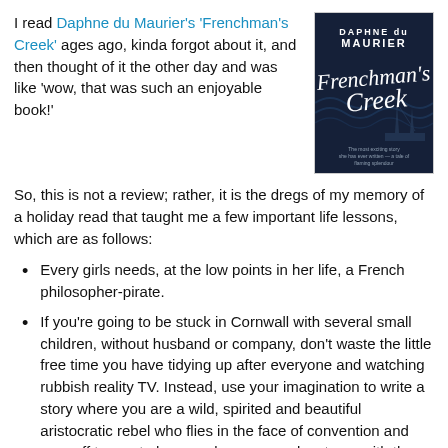I read Daphne du Maurier's 'Frenchman's Creek' ages ago, kinda forgot about it, and then thought of it the other day and was like 'wow, that was such an enjoyable book!'
[Figure (illustration): Book cover of Frenchman's Creek by Daphne du Maurier — dark navy background with white script title and author name, showing a sailing ship silhouette]
So, this is not a review; rather, it is the dregs of my memory of a holiday read that taught me a few important life lessons, which are as follows:
Every girls needs, at the low points in her life, a French philosopher-pirate.
If you're going to be stuck in Cornwall with several small children, without husband or company, don't waste the little free time you have tidying up after everyone and watching rubbish reality TV. Instead, use your imagination to write a story where you are a wild, spirited and beautiful aristocratic rebel who flies in the face of convention and runs off to sea to have androgynous adventures with the afore-mentioned French philosopher-pirate. Anything else would be...